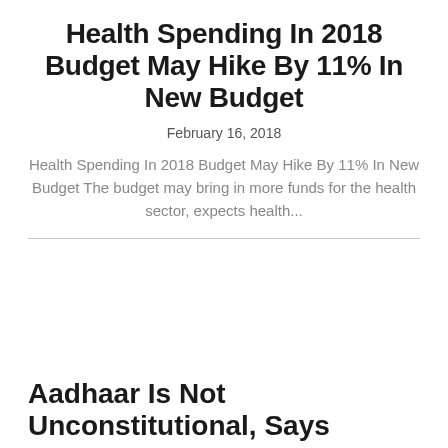Health Spending In 2018 Budget May Hike By 11% In New Budget
February 16, 2018
Health Spending In 2018 Budget May Hike By 11% In New Budget The budget may bring in more funds for the health sector, expects health...
Aadhaar Is Not Unconstitutional, Says